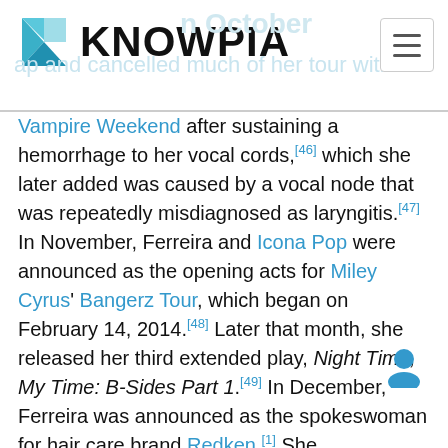KNOWPIA
Vampire Weekend after sustaining a hemorrhage to her vocal cords,[46] which she later added was caused by a vocal node that was repeatedly misdiagnosed as laryngitis.[47] In November, Ferreira and Icona Pop were announced as the opening acts for Miley Cyrus' Bangerz Tour, which began on February 14, 2014.[48] Later that month, she released her third extended play, Night Time, My Time: B-Sides Part 1.[49] In December, Ferreira was announced as the spokeswoman for hair care brand Redken.[1] She subsequently appeared as a guest vocalist with Ariel Pink on his track "My Molly," which was released as a music video on December 23 of that year.[50]
On February 20, 2014, during the third performance opening for the Bangerz Tour, Ferreira fell and split...